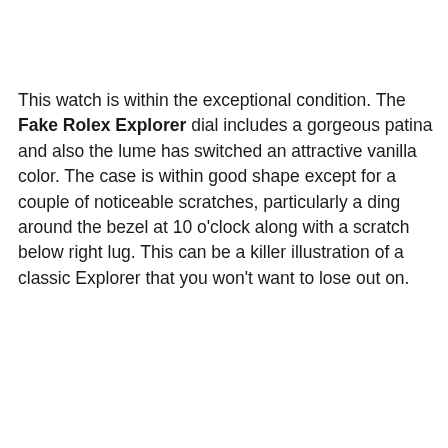This watch is within the exceptional condition. The Fake Rolex Explorer dial includes a gorgeous patina and also the lume has switched an attractive vanilla color. The case is within good shape except for a couple of noticeable scratches, particularly a ding around the bezel at 10 o'clock along with a scratch below right lug. This can be a killer illustration of a classic Explorer that you won't want to lose out on.